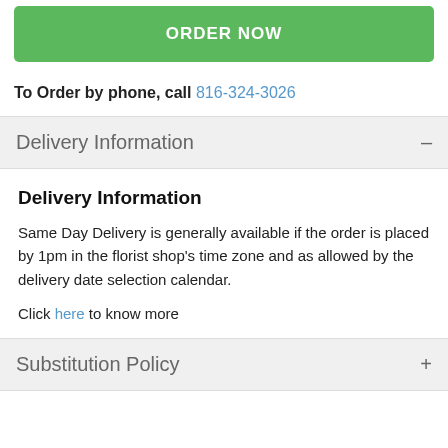[Figure (other): Green ORDER NOW button]
To Order by phone, call 816-324-3026
Delivery Information
Delivery Information
Same Day Delivery is generally available if the order is placed by 1pm in the florist shop's time zone and as allowed by the delivery date selection calendar.
Click here to know more
Substitution Policy